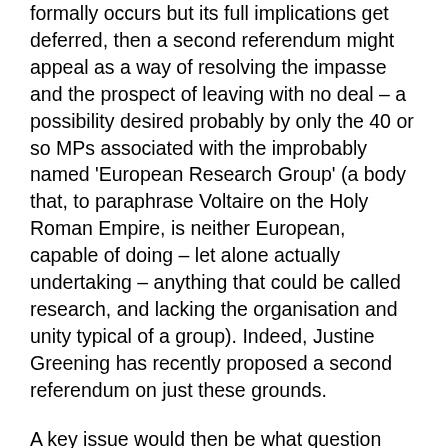formally occurs but its full implications get deferred, then a second referendum might appeal as a way of resolving the impasse and the prospect of leaving with no deal – a possibility desired probably by only the 40 or so MPs associated with the improbably named 'European Research Group' (a body that, to paraphrase Voltaire on the Holy Roman Empire, is neither European, capable of doing – let alone actually undertaking – anything that could be called research, and lacking the organisation and unity typical of a group). Indeed, Justine Greening has recently proposed a second referendum on just these grounds.
A key issue would then be what question might be put to voters that would not be question-begging. After all, what would a rejection of whatever deal the Prime Minister (or the EU) proposes actually mean – that the UK should remain in the EU, that it should Leave with no